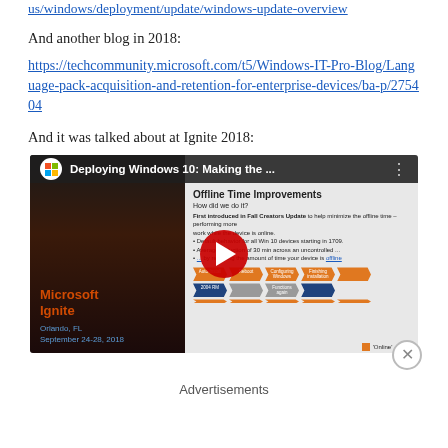us/windows/deployment/update/windows-update-overview
And another blog in 2018:
https://techcommunity.microsoft.com/t5/Windows-IT-Pro-Blog/Language-pack-acquisition-and-retention-for-enterprise-devices/ba-p/275404
And it was talked about at Ignite 2018:
[Figure (screenshot): YouTube video thumbnail for 'Deploying Windows 10: Making the...' from Microsoft Ignite, Orlando FL, September 24-28, 2018. Shows a presentation slide about Offline Time Improvements with a YouTube play button overlay.]
Advertisements